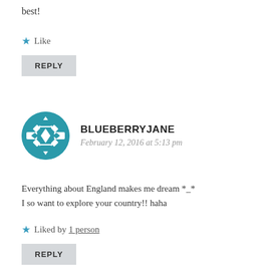best!
★ Like
REPLY
BLUEBERRYJANE
February 12, 2016 at 5:13 pm
Everything about England makes me dream *_*
I so want to explore your country!! haha
★ Liked by 1 person
REPLY